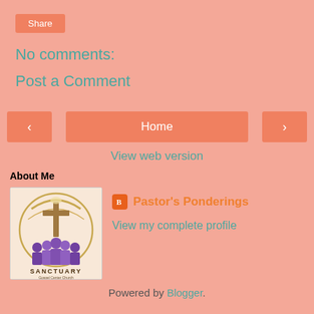Share
No comments:
Post a Comment
< Home >
View web version
About Me
[Figure (logo): Sanctuary Gospel Center Church circular logo with cross and people silhouettes]
Pastor's Ponderings
View my complete profile
Powered by Blogger.